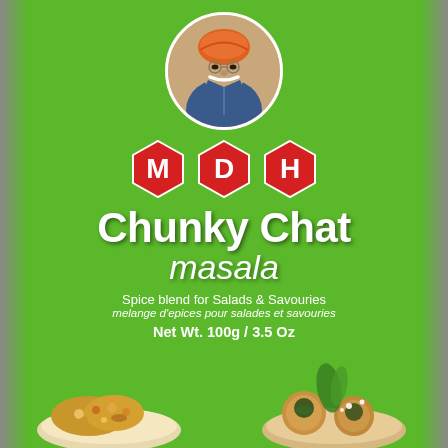[Figure (photo): MDH Chunky Chat Masala spice blend product package. Green box with portrait of elderly Indian man in orange turban, MDH hexagonal logo, product name 'Chunky Chat masala', subtitle 'Spice blend for Salads & Savouries / melange d'epices pour salades et savouries', net weight '100g / 3.5 Oz', and food photos at bottom.]
Chunky Chat masala
Spice blend for Salads & Savouries
melange d'epices pour salades et savouries
Net Wt. 100g / 3.5 Oz